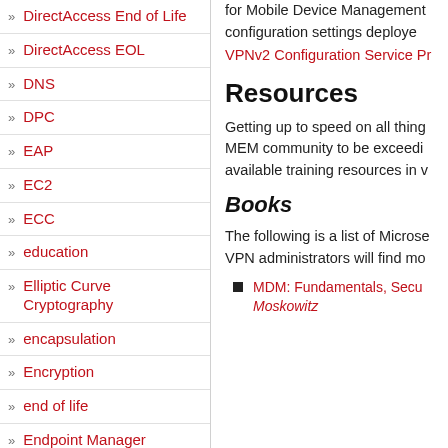DirectAccess End of Life
DirectAccess EOL
DNS
DPC
EAP
EC2
ECC
education
Elliptic Curve Cryptography
encapsulation
Encryption
end of life
Endpoint Manager
for Mobile Device Management configuration settings deployed VPNv2 Configuration Service Pr
Resources
Getting up to speed on all thing MEM community to be exceedi available training resources in v
Books
The following is a list of Microse VPN administrators will find mo
MDM: Fundamentals, Secu Moskowitz